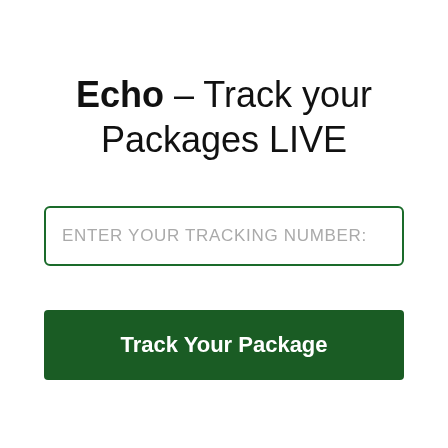Echo – Track your Packages LIVE
ENTER YOUR TRACKING NUMBER:
Track Your Package